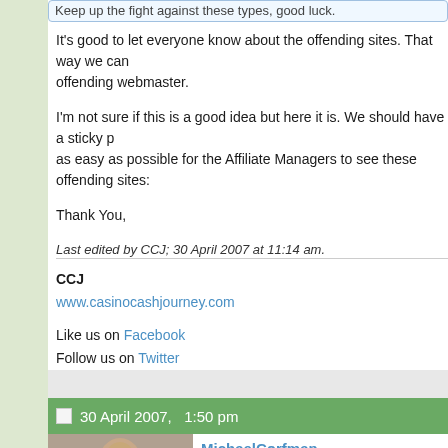Keep up the fight against these types, good luck.
It's good to let everyone know about the offending sites. That way we can... offending webmaster.
I'm not sure if this is a good idea but here it is. We should have a sticky p... as easy as possible for the Affiliate Managers to see these offending sites...
Thank You,
Last edited by CCJ; 30 April 2007 at 11:14 am.
CCJ
www.casinocashjourney.com

Like us on Facebook
Follow us on Twitter
30 April 2007,   1:50 pm
MichaelCorfman
GPWA Executive Director